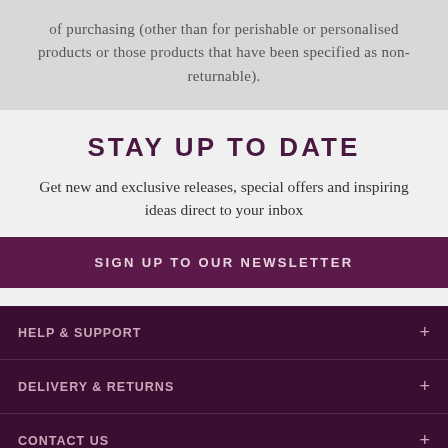of purchasing (other than for perishable or personalised products or those products that have been specified as non-returnable).
STAY UP TO DATE
Get new and exclusive releases, special offers and inspiring ideas direct to your inbox
SIGN UP TO OUR NEWSLETTER
HELP & SUPPORT
DELIVERY & RETURNS
CONTACT US
ABOUT US
OUR SHOPS